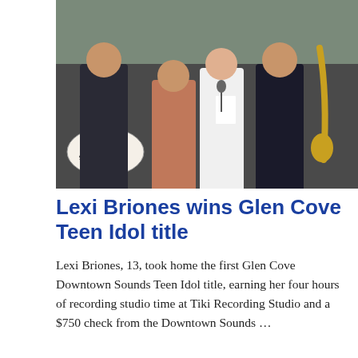[Figure (photo): Group photo of people on a stage with musical instruments including drums and guitars, with a sign reading 'Strawbe Fields' visible in the background]
Lexi Briones wins Glen Cove Teen Idol title
Lexi Briones, 13, took home the first Glen Cove Downtown Sounds Teen Idol title, earning her four hours of recording studio time at Tiki Recording Studio and a $750 check from the Downtown Sounds …
[Figure (infographic): Herald Community Newspapers advertisement banner reading 'WE'RE HIRING! Click to apply to come work with us']